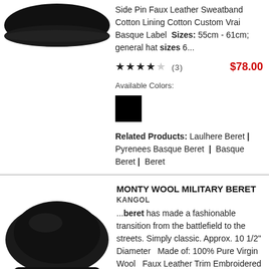[Figure (photo): Black beret hat product image (top portion visible, cropped)]
Side Pin Faux Leather Sweatband Cotton Lining Cotton Custom Vrai Basque Label Sizes: 55cm - 61cm; general hat sizes 6...
★★★★☆ (3)   $78.00
Available Colors:
[Figure (other): Black color swatch square]
Related Products: Laulhere Beret | Pyrenees Basque Beret | Basque Beret | Beret
MONTY WOOL MILITARY BERET
KANGOL
[Figure (photo): Black Kangol Monty Wool Military Beret product image]
...beret has made a fashionable transition from the battlefield to the streets. Simply classic. Approx. 10 1/2" Diameter   Made of: 100% Pure Virgin Wool   Faux Leather Trim Embroidered Kangol Logo at Side Unlined Printed Kangol Logo - Interior   Sizes: S,